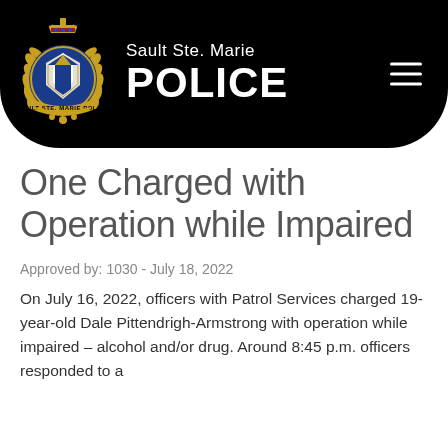[Figure (logo): Sault Ste. Marie Police header with badge/crest logo on black background with hamburger menu icon]
One Charged with Operation while Impaired
Approved by: 1030 - July 18, 2022
On July 16, 2022, officers with Patrol Services charged 19-year-old Dale Pittendrigh-Armstrong with operation while impaired – alcohol and/or drug. Around 8:45 p.m. officers responded to a